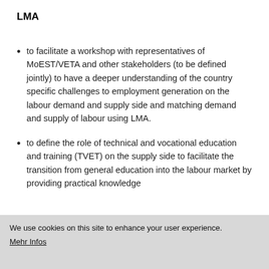LMA
to facilitate a workshop with representatives of MoEST/VETA and other stakeholders (to be defined jointly) to have a deeper understanding of the country specific challenges to employment generation on the labour demand and supply side and matching demand and supply of labour using LMA.
to define the role of technical and vocational education and training (TVET) on the supply side to facilitate the transition from general education into the labour market by providing practical knowledge and skills for employment/labour market development
We use cookies on this site to enhance your user experience.
Mehr Infos